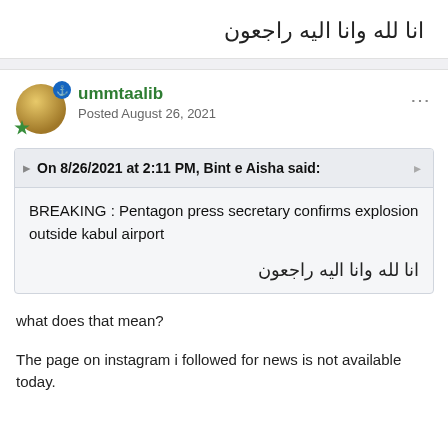انا لله وانا اليه راجعون
ummtaalib
Posted August 26, 2021
On 8/26/2021 at 2:11 PM, Bint e Aisha said:
BREAKING : Pentagon press secretary confirms explosion outside kabul airport
انا لله وانا اليه راجعون
what does that mean?
The page on instagram i followed for news is not available today.